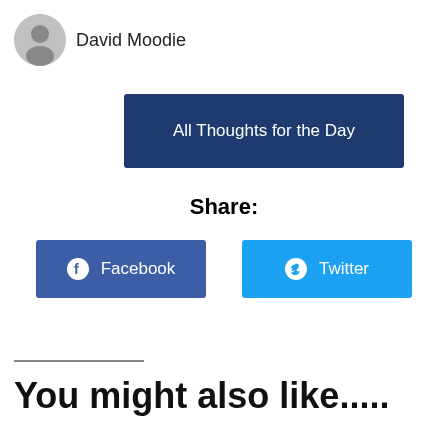David Moodie
All Thoughts for the Day
Share:
Facebook
Twitter
You might also like.....